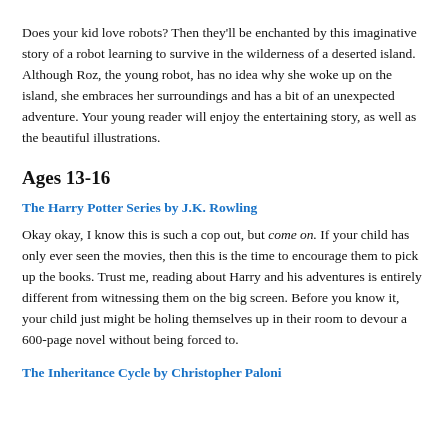Does your kid love robots? Then they'll be enchanted by this imaginative story of a robot learning to survive in the wilderness of a deserted island. Although Roz, the young robot, has no idea why she woke up on the island, she embraces her surroundings and has a bit of an unexpected adventure. Your young reader will enjoy the entertaining story, as well as the beautiful illustrations.
Ages 13-16
The Harry Potter Series by J.K. Rowling
Okay okay, I know this is such a cop out, but come on. If your child has only ever seen the movies, then this is the time to encourage them to pick up the books. Trust me, reading about Harry and his adventures is entirely different from witnessing them on the big screen. Before you know it, your child just might be holing themselves up in their room to devour a 600-page novel without being forced to.
The Inheritance Cycle by Christopher Paloni